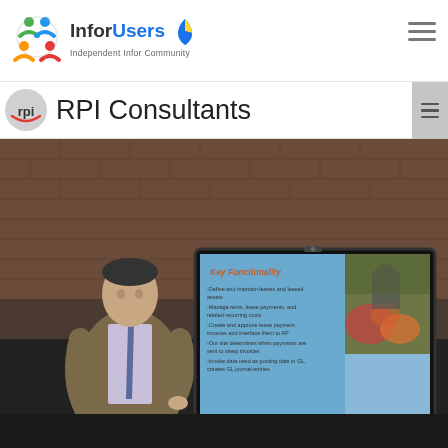[Figure (logo): InforUsers logo with colorful circular icon and blue/yellow ribbon, text: InforUsers Independent Infor Community]
[Figure (logo): RPI Consultants logo and title text]
[Figure (screenshot): Screenshot of a presentation video showing a man in a suit presenting in front of a large display screen showing slides about Key Functionality including bullet points about defining and maintaining leases, managing rents, creating invoices, etc.]